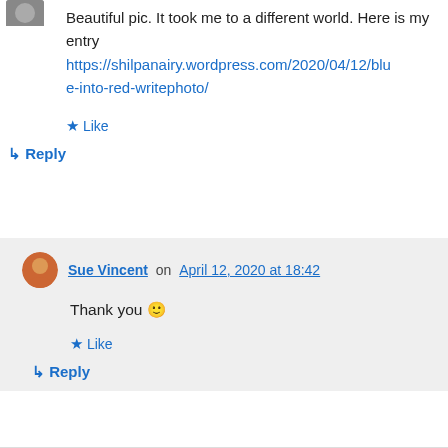[Figure (photo): Small avatar icon at top left, partially visible]
Beautiful pic. It took me to a different world. Here is my entry https://shilpanairy.wordpress.com/2020/04/12/blue-into-red-writephoto/
★ Like
↪ Reply
Sue Vincent on April 12, 2020 at 18:42
Thank you 🙂
★ Like
↪ Reply